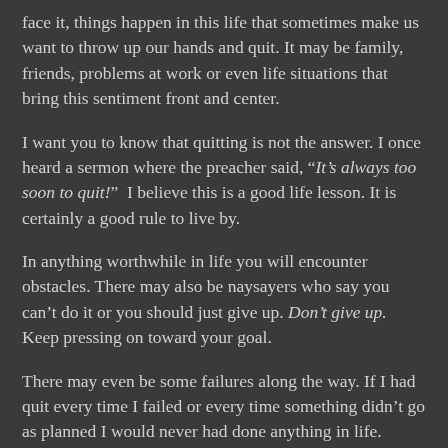face it, things happen in this life that sometimes make us want to throw up our hands and quit. It may be family, friends, problems at work or even life situations that bring this sentiment front and center.
I want you to know that quitting is not the answer. I once heard a sermon where the preacher said, “It’s always too soon to quit!” I believe this is a good life lesson. It is certainly a good rule to live by.
In anything worthwhile in life you will encounter obstacles. There may also be naysayers who say you can’t do it or you should just give up. Don’t give up. Keep pressing on toward your goal.
There may even be some failures along the way. If I had quit every time I failed or every time something didn’t go as planned I would never had done anything in life.
I want to share a very profound statement with you. “The difference between success and failure is determined by